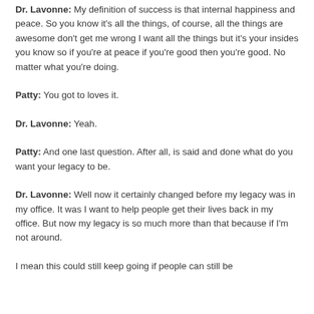Dr. Lavonne: My definition of success is that internal happiness and peace. So you know it's all the things, of course, all the things are awesome don't get me wrong I want all the things but it's your insides you know so if you're at peace if you're good then you're good. No matter what you're doing.
Patty: You got to loves it.
Dr. Lavonne: Yeah.
Patty: And one last question. After all, is said and done what do you want your legacy to be.
Dr. Lavonne: Well now it certainly changed before my legacy was in my office. It was I want to help people get their lives back in my office. But now my legacy is so much more than that because if I'm not around.
I mean this could still keep going if people can still be